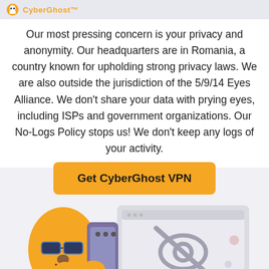CyberGhost™
Our most pressing concern is your privacy and anonymity. Our headquarters are in Romania, a country known for upholding strong privacy laws. We are also outside the jurisdiction of the 5/9/14 Eyes Alliance. We don't share your data with prying eyes, including ISPs and government organizations. Our No-Logs Policy stops us! We don't keep any logs of your activity.
[Figure (other): Yellow button with text 'Get CyberGhost VPN' in bold black text on yellow/orange background]
[Figure (illustration): Illustration of a yellow cartoon ghost character wearing blue sunglasses and holding a smartphone, next to a laptop screen showing a crossed-out eye icon suggesting privacy/anonymity]